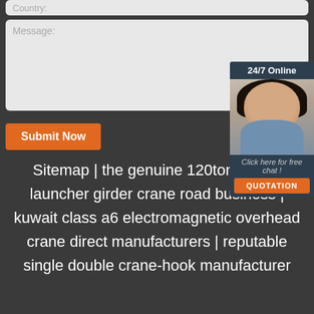[Figure (screenshot): Country input field (top, partially visible, light gray rounded rectangle)]
[Figure (screenshot): Message textarea field (light gray rounded rectangle with 'Message:' label placeholder)]
[Figure (screenshot): Submit Now orange button]
[Figure (screenshot): 24/7 Online chat widget sidebar with woman with headset photo, 'Click here for free chat!' text, and QUOTATION orange button]
Sitemap | the genuine 120ton bridge launcher girder crane road business | kuwait class a6 electromagnetic overhead crane direct manufacturers | reputable single double crane-hook manufacturer